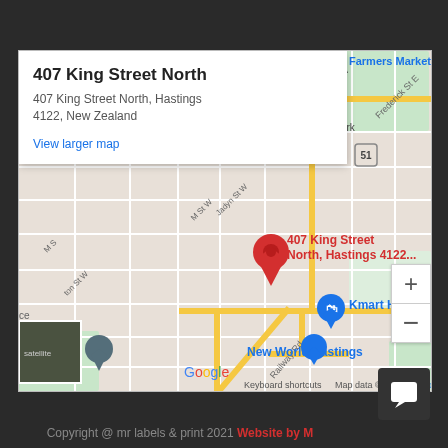[Figure (map): Google Maps screenshot showing location of 407 King Street North, Hastings 4122, New Zealand. Map shows street grid of Hastings area with red location pin marking the address. Info popup in top-left shows address details and 'View larger map' link. Blue pins mark Kmart Hastings NZ and New World Hastings. Route 51 badge visible. Satellite thumbnail in bottom-left. Zoom controls on right side. Map data copyright 2022 Google.]
Copyright @ mr labels & print 2021 Website by M